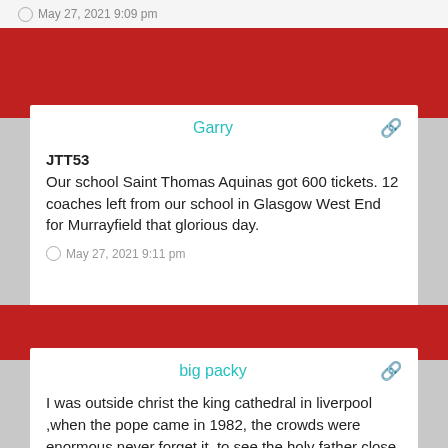May 27, 2021 9:09 pm
Garry
JTT53
Our school Saint Thomas Aquinas got 600 tickets. 12 coaches left from our school in Glasgow West End for Murrayfield that glorious day.
May 27, 2021 9:11 pm
big packy
I was outside christ the king cathedral in liverpool ,when the pope came in 1982, the crowds were enormous never forget it, to see the holy father close up,.something else 👍
May 27, 2021 9:16 pm